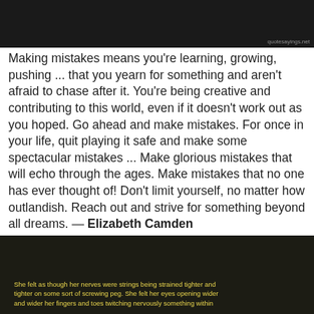[Figure (photo): Dark background image at top of page with watermark text 'quotesayings.net' in bottom right corner]
Making mistakes means you're learning, growing, pushing ... that you yearn for something and aren't afraid to chase after it. You're being creative and contributing to this world, even if it doesn't work out as you hoped. Go ahead and make mistakes. For once in your life, quit playing it safe and make some spectacular mistakes ... Make glorious mistakes that will echo through the ages. Make mistakes that no one has ever thought of! Don't limit yourself, no matter how outlandish. Reach out and strive for something beyond all dreams. — Elizabeth Camden
[Figure (photo): Dark image at bottom of page with yellow subtitle text: 'She felt as though her nerves were strings being strained tighter and tighter on some sort of screwing peg. She felt her eyes opening wider and wider her fingers and toes twitching nervously something within']